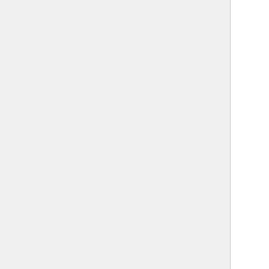Black  (← links)
Scarface: The World is Yours  (← links)
Bren gun  (← links)
Hitman (2007)  (← links)
Platoon  (← links)
Rambo (2008)  (← links)
Children of Men  (← links)
Doomsday  (← links)
Iron Man  (← links)
Metal Gear Solid 4: Guns of the Patriots  (← links)
Hulk (2003)  (← links)
Incredible Hulk, The (2008)  (← links)
Mist, The (2007)  (← links)
Sahara (2005)  (← links)
Ghost Recon  (← links)
Half Past Dead  (← links)
Battlefield: Bad Company  (← links)
Soldier Soldier (TV series)  (← links)
Body of Lies  (← links)
Generation Kill  (← links)
User talk:Gunmaster45  (← links)